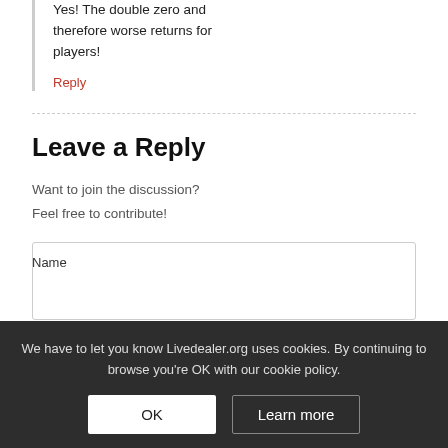Yes! The double zero and therefore worse returns for players!
Reply
Leave a Reply
Want to join the discussion?
Feel free to contribute!
Name
We have to let you know Livedealer.org uses cookies. By continuing to browse you're OK with our cookie policy.